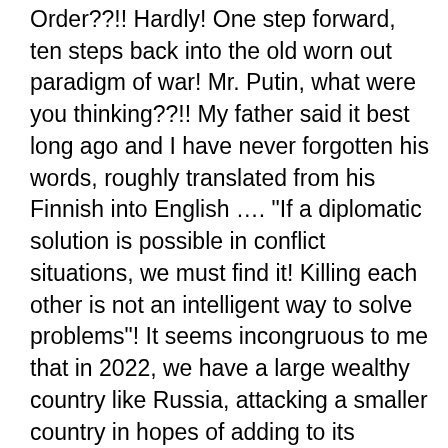Order??!! Hardly! One step forward, ten steps back into the old worn out paradigm of war! Mr. Putin, what were you thinking??!! My father said it best long ago and I have never forgotten his words, roughly translated from his Finnish into English …. "If a diplomatic solution is possible in conflict situations, we must find it! Killing each other is not an intelligent way to solve problems"! It seems incongruous to me that in 2022, we have a large wealthy country like Russia, attacking a smaller country in hopes of adding to its borders and yes, undoubtedly taking advantage of Ukraine's abundance of natural resources!!! Whaaaat??? Come to your senses Mr. Putin et al. I doubt there is a country in the world who agrees with your choice of action against a peaceful country! The positive to this brutal and unprovoked attack on Ukraine is what I remain hopeful about … that it has led to a powerful and united international response! I pray this war will end soon